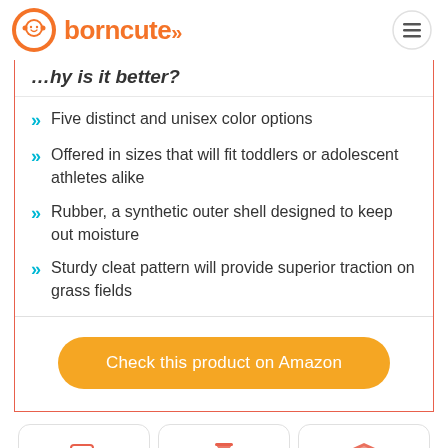borncute
Why is it better?
Five distinct and unisex color options
Offered in sizes that will fit toddlers or adolescent athletes alike
Rubber, a synthetic outer shell designed to keep out moisture
Sturdy cleat pattern will provide superior traction on grass fields
[Figure (other): Check this product on Amazon button (orange rounded rectangle)]
[Figure (other): Bottom strip with three icon cards: article/list icon, hourglass icon, shield/badge icon]